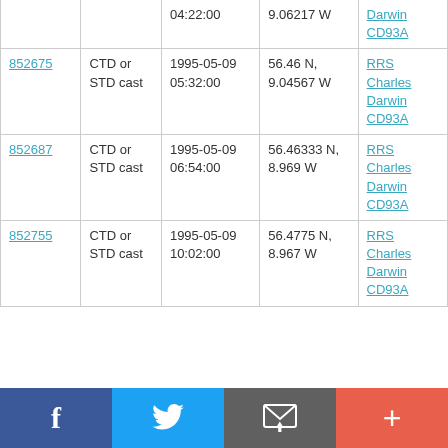| ID | Type | Date/Time | Coordinates | Ship/Cruise |
| --- | --- | --- | --- | --- |
|  |  | 04:22:00 | 9.06217 W | Darwin CD93A |
| 852675 | CTD or STD cast | 1995-05-09 05:32:00 | 56.46 N, 9.04567 W | RRS Charles Darwin CD93A |
| 852687 | CTD or STD cast | 1995-05-09 06:54:00 | 56.46333 N, 8.969 W | RRS Charles Darwin CD93A |
| 852755 | CTD or STD cast | 1995-05-09 10:02:00 | 56.4775 N, 8.967 W | RRS Charles Darwin CD93A |
Social share bar: Facebook, Twitter, Email, +